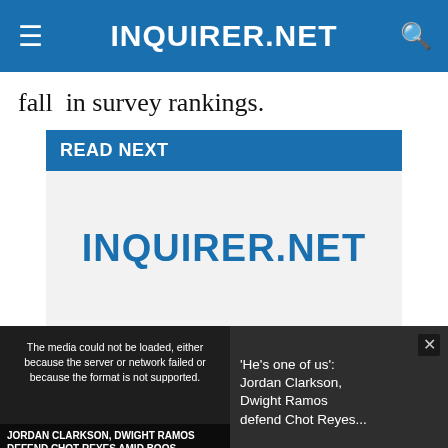INQUIRER.NET
fall  in survey rankings.
READ NEXT
[Figure (logo): INQUIRER.NET logo on light grey background ad placeholder]
[Figure (screenshot): Video overlay showing media error message: 'The media could not be loaded, either because the server or network failed or because the format is not supported.' with thumbnail of Jordan Clarkson and Dwight Ramos, and headline: 'He's one of us': Jordan Clarkson, Dwight Ramos defend Chot Reyes...]
X